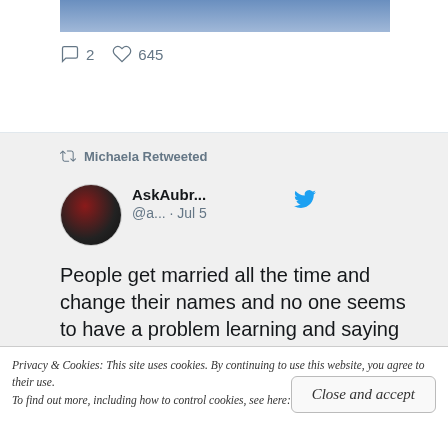[Figure (screenshot): Partial top of a Twitter/X tweet card showing cropped photo of people and engagement stats: comment icon with '2', heart icon with '645']
2   645
Michaela Retweeted
[Figure (photo): Circular avatar of a person with dark hair and red lipstick]
AskAubr...  @a...  · Jul 5
People get married all the time and change their names and no one seems to have a problem learning and saying their new married name.
So what's so hard about
Privacy & Cookies: This site uses cookies. By continuing to use this website, you agree to their use.
To find out more, including how to control cookies, see here: Cookie Policy
Close and accept